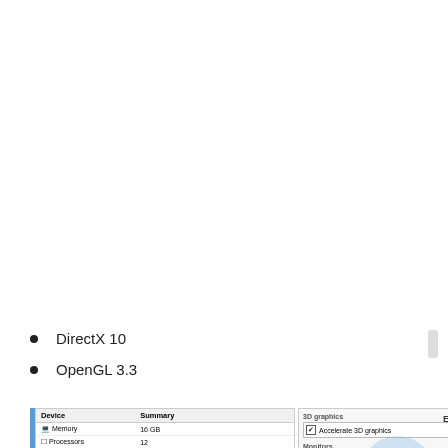DirectX 10
OpenGL 3.3
[Figure (screenshot): VMware virtual machine settings screenshot showing device list (Memory 16GB, Processors 12, Hard Disk 60GB, etc.) on the left and 3D graphics/Monitors settings panel on the right with ESXi virtualization logo overlay, close buttons, and watermark circle with up-arrow.]